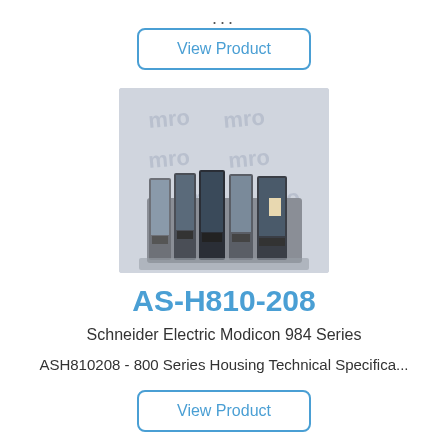...
View Product
[Figure (photo): Photo of Schneider Electric Modicon 984 Series AS-H810-208 800 Series Housing units, multiple modules arranged in front of a white background with MRO logo/watermark.]
AS-H810-208
Schneider Electric Modicon 984 Series
ASH810208 - 800 Series Housing Technical Specifica...
View Product